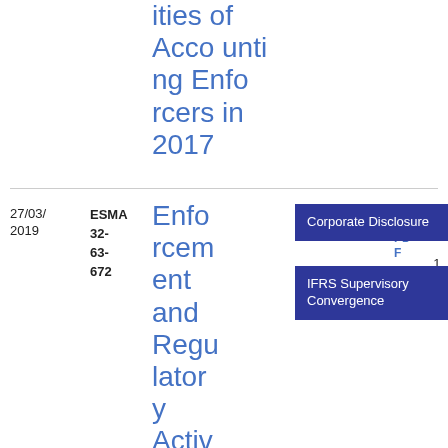ities of Accounting Enforcers in 2017
| Date | Reference | Title | Tags | Type | Format | Size |
| --- | --- | --- | --- | --- | --- | --- |
| 27/03/2019 | ESMA 32-63-672 | Enforcement and Regulatory Activities of European... | Corporate Disclosure; IFRS Supervisory Convergence | Report | PDF | 1.29 MB |